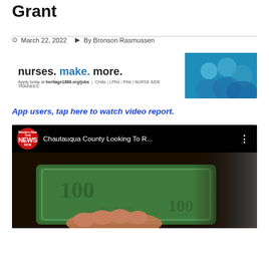Grant
March 22, 2022   By Bronson Rasmussen
[Figure (photo): Advertisement banner: 'nurses. make. more.' with photo of smiling healthcare workers. Apply today at heritage1886.org/jobs. CHAS | LPNs | RNs | NURSE AIDE TRAINEES]
App users, tap here to watch video report.
[Figure (screenshot): YouTube video thumbnail: Chautauqua County Looking To R... showing NEWS NOW channel logo and a $100 bill being held]